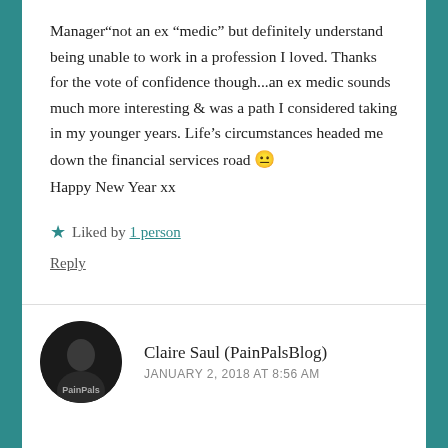Manager“not an ex “medic” but definitely understand being unable to work in a profession I loved. Thanks for the vote of confidence though...an ex medic sounds much more interesting & was a path I considered taking in my younger years. Life’s circumstances headed me down the financial services road 😐 Happy New Year xx
★ Liked by 1 person
Reply
Claire Saul (PainPalsBlog)
JANUARY 2, 2018 AT 8:56 AM